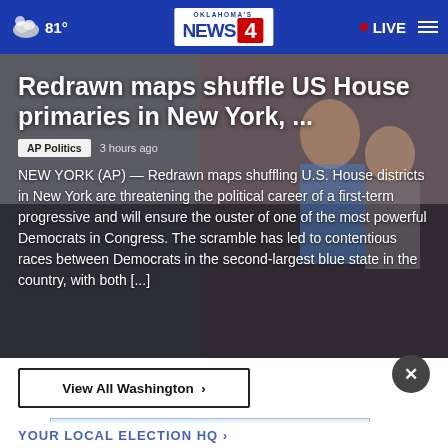81° Oklahoma's News 4 | LIVE
[Figure (photo): News article hero image showing people, overlaid with article title and text about redrawn maps shuffling US House primaries in New York]
Redrawn maps shuffle US House primaries in New York, ...
AP Politics  3 hours ago
NEW YORK (AP) — Redrawn maps shuffling U.S. House districts in New York are threatening the political career of a first-term progressive and will ensure the ouster of one of the most powerful Democrats in Congress. The scramble has led to contentious races between Democrats in the second-largest blue state in the country, with both [...]
View All Washington ›
THESHELTERPETPROJECT.ORG
YOUR LOCAL ELECTION HQ ›